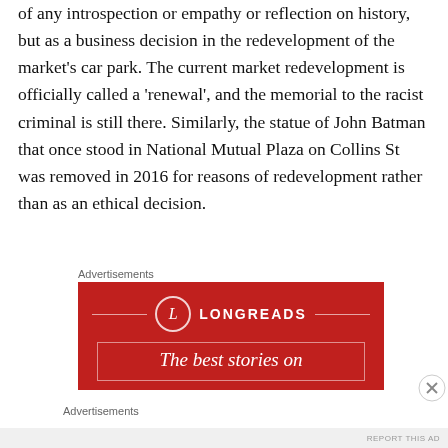of any introspection or empathy or reflection on history, but as a business decision in the redevelopment of the market's car park. The current market redevelopment is officially called a 'renewal', and the memorial to the racist criminal is still there. Similarly, the statue of John Batman that once stood in National Mutual Plaza on Collins St was removed in 2016 for reasons of redevelopment rather than as an ethical decision.
Advertisements
[Figure (other): Red advertisement banner for Longreads with circular logo containing the letter L, decorative horizontal lines, and text reading 'The best stories on']
Advertisements